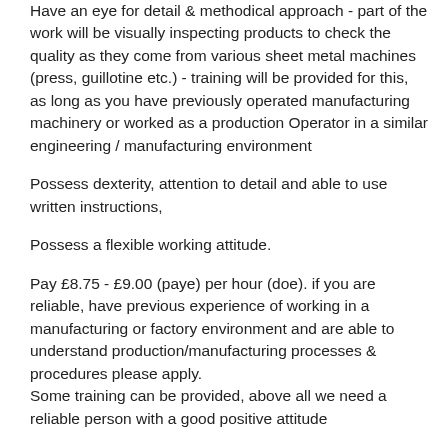Have an eye for detail & methodical approach - part of the work will be visually inspecting products to check the quality as they come from various sheet metal machines (press, guillotine etc.) - training will be provided for this, as long as you have previously operated manufacturing machinery or worked as a production Operator in a similar engineering / manufacturing environment
Possess dexterity, attention to detail and able to use written instructions,
Possess a flexible working attitude.
Pay £8.75 - £9.00 (paye) per hour (doe). if you are reliable, have previous experience of working in a manufacturing or factory environment and are able to understand production/manufacturing processes & procedures please apply.
Some training can be provided, above all we need a reliable person with a good positive attitude
Ongoing contract with interviews and starts available over the